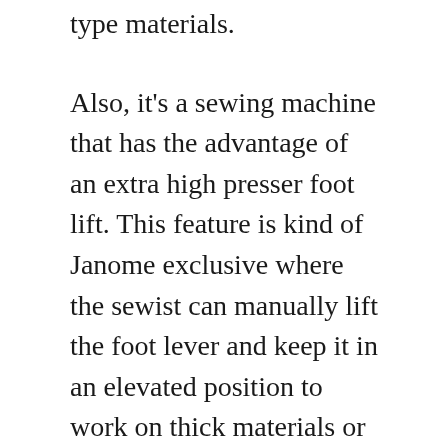type materials.
Also, it's a sewing machine that has the advantage of an extra high presser foot lift. This feature is kind of Janome exclusive where the sewist can manually lift the foot lever and keep it in an elevated position to work on thick materials or layers of fabrics.
You have 200 built-in stitches and 175 built-in embroidery designs to make on your projects, along with a six one-step auto-sized buttonholing facility. You thread your needle auto and cut the thread auto as well. Even the thread tension works automatically.
The top-loading full rotary hook bobbin takes no